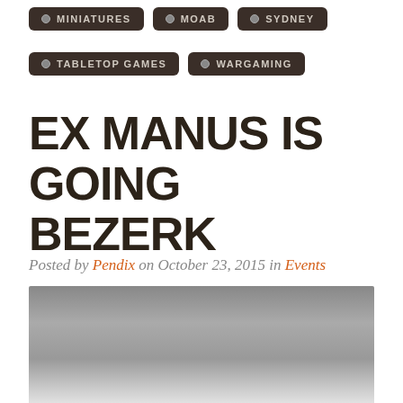MINIATURES
MOAB
SYDNEY
TABLETOP GAMES
WARGAMING
EX MANUS IS GOING BEZERK
Posted by Pendix on October 23, 2015 in Events
[Figure (photo): Blurred/redacted banner image]
We are pleased to announce that in only 3 ↵ … Ex Manus Studio will host Sydney's …